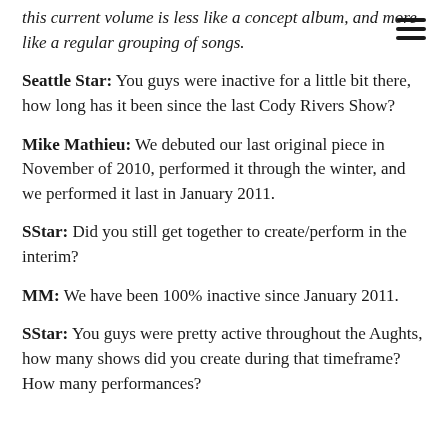this current volume is less like a concept album, and more like a regular grouping of songs.
Seattle Star: You guys were inactive for a little bit there, how long has it been since the last Cody Rivers Show?
Mike Mathieu: We debuted our last original piece in November of 2010, performed it through the winter, and we performed it last in January 2011.
SStar: Did you still get together to create/perform in the interim?
MM: We have been 100% inactive since January 2011.
SStar: You guys were pretty active throughout the Aughts, how many shows did you create during that timeframe? How many performances?